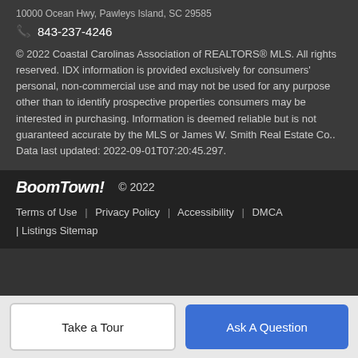10000 Ocean Hwy, Pawleys Island, SC 29585
843-237-4246
© 2022 Coastal Carolinas Association of REALTORS® MLS. All rights reserved. IDX information is provided exclusively for consumers' personal, non-commercial use and may not be used for any purpose other than to identify prospective properties consumers may be interested in purchasing. Information is deemed reliable but is not guaranteed accurate by the MLS or James W. Smith Real Estate Co.. Data last updated: 2022-09-01T07:20:45.297.
BoomTown! © 2022 | Terms of Use | Privacy Policy | Accessibility | DMCA | Listings Sitemap
Take a Tour
Ask A Question